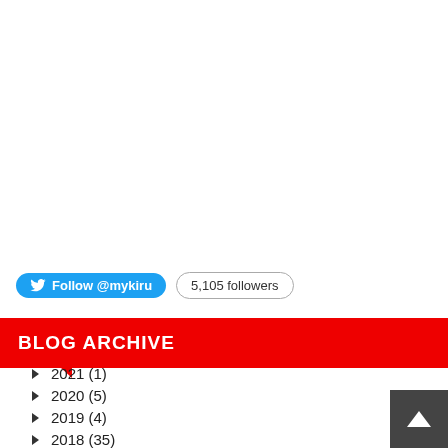[Figure (other): Twitter Follow button showing '@mykiru' and '5,105 followers' badge]
BLOG ARCHIVE
► 2021 (1)
► 2020 (5)
► 2019 (4)
► 2018 (35)